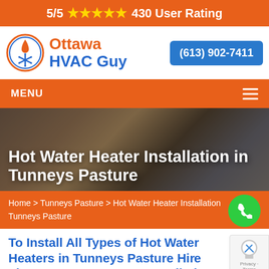5/5 ★★★★★ 430 User Rating
[Figure (logo): Ottawa HVAC Guy logo with flame and snowflake icon in orange circle]
(613) 902-7411
MENU
Hot Water Heater Installation in Tunneys Pasture
Home > Tunneys Pasture > Hot Water Heater Installation Tunneys Pasture
To Install All Types of Hot Water Heaters in Tunneys Pasture Hire The Best Water Heater Installation